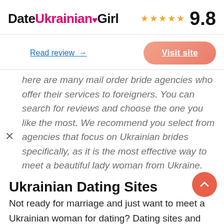[Figure (logo): DateUkrainianGirl logo with heart icon, star rating (5 stars) and score 9.8]
Read review →
Visit site
here are many mail order bride agencies who offer their services to foreigners. You can search for reviews and choose the one you like the most. We recommend you select from agencies that focus on Ukrainian brides specifically, as it is the most effective way to meet a beautiful lady woman from Ukraine.
Ukrainian Dating Sites
Not ready for marriage and just want to meet a Ukrainian woman for dating? Dating sites and apps are just what you need. There are plenty of single beau from Ukraine on different dating websites. And most of them are not looking for marriage there, their main aim